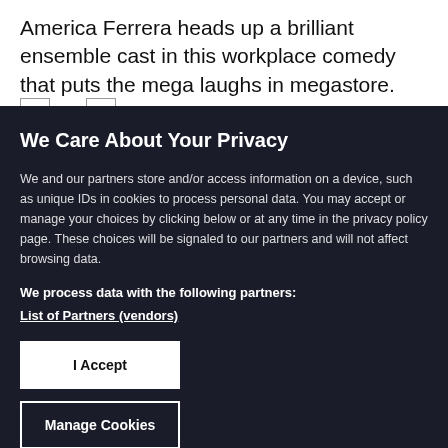America Ferrera heads up a brilliant ensemble cast in this workplace comedy that puts the mega laughs in megastore.
We Care About Your Privacy
We and our partners store and/or access information on a device, such as unique IDs in cookies to process personal data. You may accept or manage your choices by clicking below or at any time in the privacy policy page. These choices will be signaled to our partners and will not affect browsing data.
We process data with the following partners:
List of Partners (vendors)
I Accept
Manage Cookies